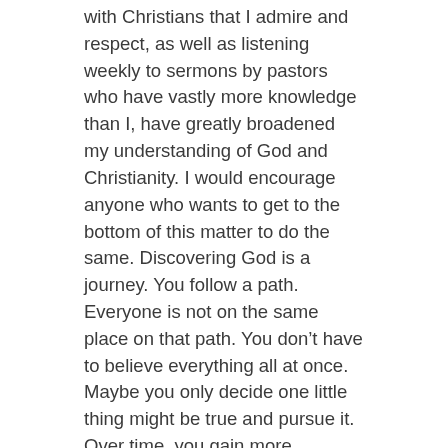with Christians that I admire and respect, as well as listening weekly to sermons by pastors who have vastly more knowledge than I, have greatly broadened my understanding of God and Christianity. I would encourage anyone who wants to get to the bottom of this matter to do the same. Discovering God is a journey. You follow a path. Everyone is not on the same place on that path. You don't have to believe everything all at once. Maybe you only decide one little thing might be true and pursue it. Over time, you gain more confidence in your belief that that little thing is true. Then maybe you start to see other things that you might be able to believe. As you investigate those, in time, you grow in your new beliefs. It takes time. It takes patience. It takes a desire to know the truth.
Maybe you are still not convinced. I get it. Letting go of something you have believed for so many years is a hard for which for most people takes time. To the